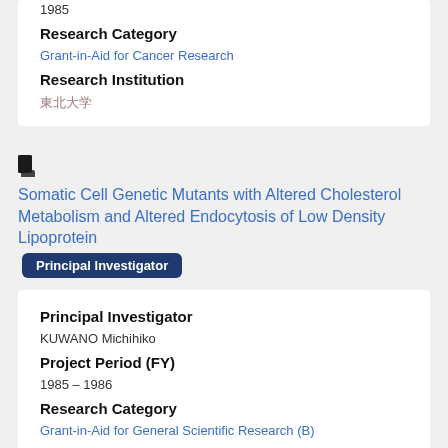1985
Research Category
Grant-in-Aid for Cancer Research
Research Institution
東北大学
Somatic Cell Genetic Mutants with Altered Cholesterol Metabolism and Altered Endocytosis of Low Density Lipoprotein
Principal Investigator
Principal Investigator
KUWANO Michihiko
Project Period (FY)
1985 – 1986
Research Category
Grant-in-Aid for General Scientific Research (B)